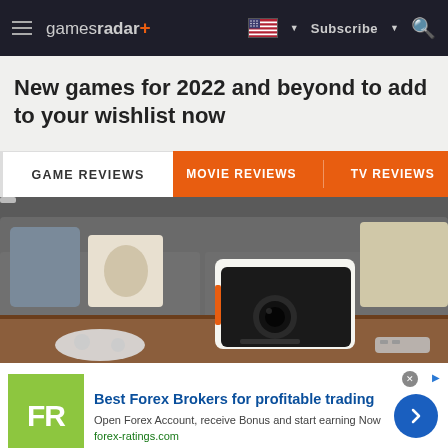gamesradar+ | Subscribe | Search
New games for 2022 and beyond to add to your wishlist now
GAME REVIEWS | MOVIE REVIEWS | TV REVIEWS
[Figure (photo): A white and orange projector sitting on a wooden coffee table in front of a grey couch, with a game controller and remote control visible]
Best Forex Brokers for profitable trading
Open Forex Account, receive Bonus and start earning Now
forex-ratings.com